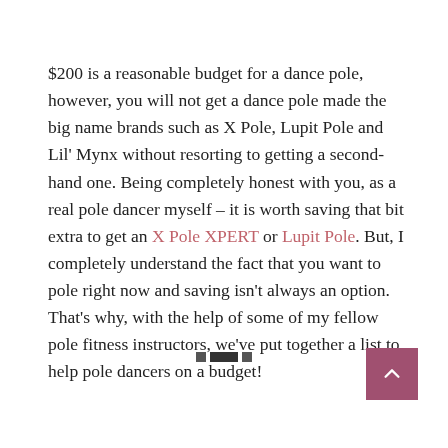$200 is a reasonable budget for a dance pole, however, you will not get a dance pole made the big name brands such as X Pole, Lupit Pole and Lil' Mynx without resorting to getting a second-hand one. Being completely honest with you, as a real pole dancer myself – it is worth saving that bit extra to get an X Pole XPERT or Lupit Pole. But, I completely understand the fact that you want to pole right now and saving isn't always an option. That's why, with the help of some of my fellow pole fitness instructors, we've put together a list to help pole dancers on a budget!